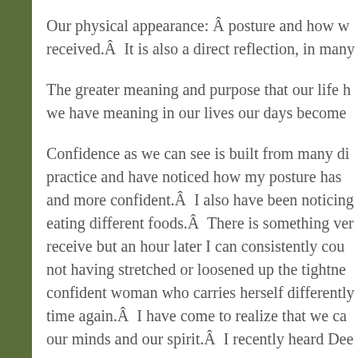Our physical appearance: Â posture and how w received.Â  It is also a direct reflection, in many
The greater meaning and purpose that our life h we have meaning in our lives our days become
Confidence as we can see is built from many di practice and have noticed how my posture has and more confident.Â  I also have been noticing eating different foods.Â  There is something ver receive but an hour later I can consistently cou not having stretched or loosened up the tightne confident woman who carries herself differently time again.Â  I have come to realize that we ca our minds and our spirit.Â  I recently heard Dee